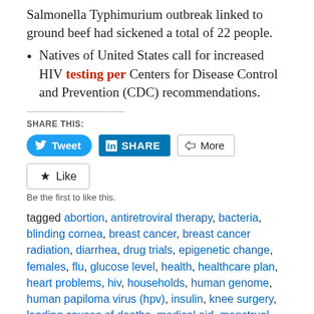Salmonella Typhimurium outbreak linked to ground beef had sickened a total of 22 people.
Natives of United States call for increased HIV testing per Centers for Disease Control and Prevention (CDC) recommendations.
SHARE THIS:
[Figure (screenshot): Social sharing buttons: Tweet (Twitter), Share (LinkedIn), More]
[Figure (screenshot): Like button widget]
Be the first to like this.
tagged abortion, antiretroviral therapy, bacteria, blinding cornea, breast cancer, breast cancer radiation, diarrhea, drug trials, epigenetic change, females, flu, glucose level, health, healthcare plan, heart problems, hiv, households, human genome, human papiloma virus (hpv), insulin, knee surgery, leading causes of deaths, medical aid, menstrual blood,